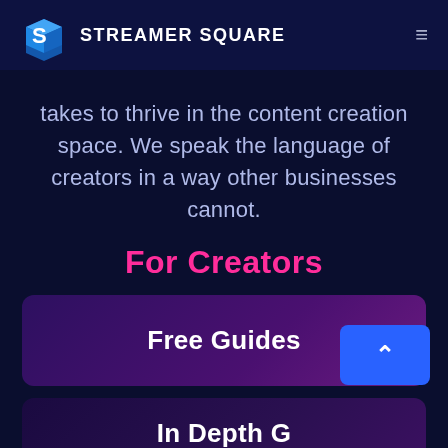STREAMER SQUARE
takes to thrive in the content creation space. We speak the language of creators in a way other businesses cannot.
For Creators
Free Guides
In Depth G...